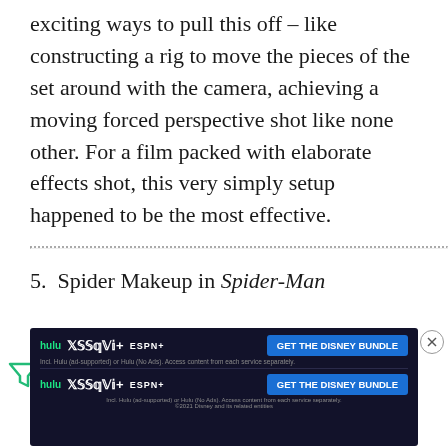exciting ways to pull this off – like constructing a rig to move the pieces of the set around with the camera, achieving a moving forced perspective shot like none other. For a film packed with elaborate effects shot, this very simply setup happened to be the most effective.
5. Spider Makeup in Spider-Man
[Figure (screenshot): Disney Bundle advertisement banner showing Hulu, Disney+, and ESPN+ logos with 'GET THE DISNEY BUNDLE' call-to-action button, repeated twice with fine print text below]